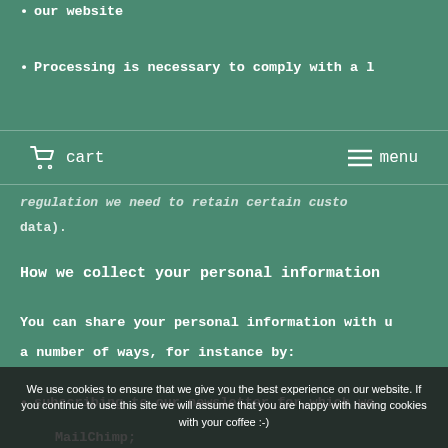our website
Processing is necessary to comply with a l...
regulation we need to retain certain custo... data).
How we collect your personal information
You can share your personal information with us a number of ways, for instance by:
subscribing to our newsletter for which we... MailChimp;
We use cookies to ensure that we give you the best experience on our website. If you continue to use this site we will assume that you are happy with having cookies with your coffee :-)